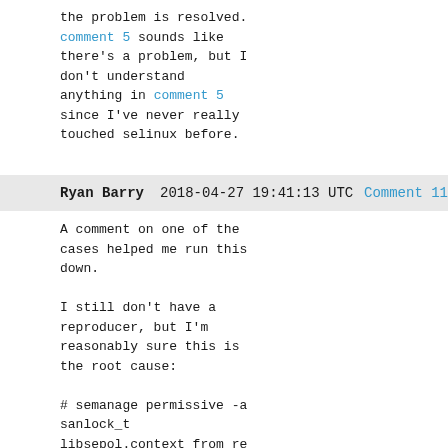the problem is resolved. comment 5 sounds like there's a problem, but I don't understand anything in comment 5 since I've never really touched selinux before.
Ryan Barry    2018-04-27 19:41:13 UTC    Comment 11
A comment on one of the cases helped me run this down.

I still don't have a reproducer, but I'm reasonably sure this is the root cause:

# semanage permissive -a sanlock_t
libsepol.context_from_record: type ovirt_vmconsole_host_port_t is not defined (No such file or directory).